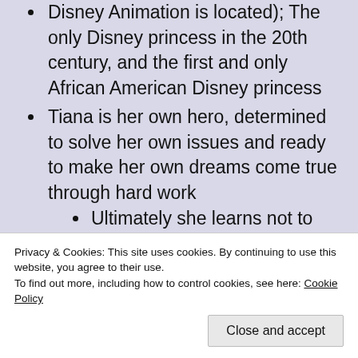Disney Animation is located); The only Disney princess in the 20th century, and the first and only African American Disney princess
Tiana is her own hero, determined to solve her own issues and ready to make her own dreams come true through hard work
Ultimately she learns not to focus too much on her dreams, but to find a balance between work and other important parts of life
Fun facts about Tiana!!
Privacy & Cookies: This site uses cookies. By continuing to use this website, you agree to their use. To find out more, including how to control cookies, see here: Cookie Policy
Close and accept
the movie